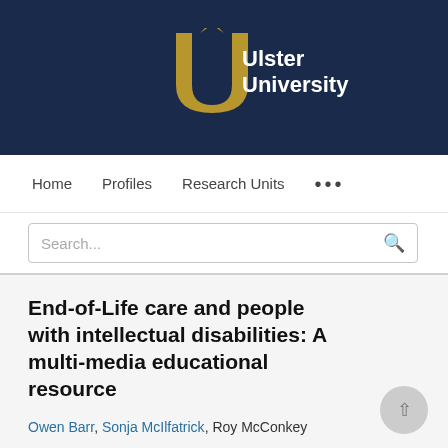[Figure (logo): Ulster University logo on dark navy background — stylized gold U letterform with a bird motif on top, next to white bold text reading 'Ulster University']
Home   Profiles   Research Units   ...
Search...
End-of-Life care and people with intellectual disabilities: A multi-media educational resource
Owen Barr, Sonja McIlfatrick, Roy McConkey